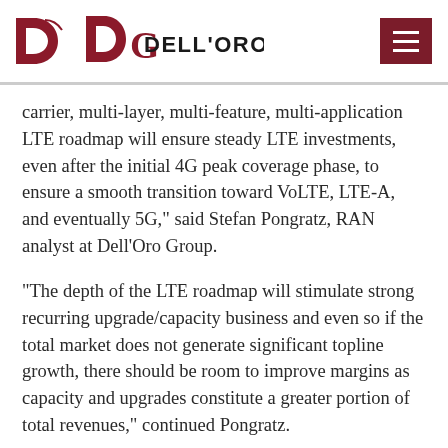Dell'Oro Group
carrier, multi-layer, multi-feature, multi-application LTE roadmap will ensure steady LTE investments, even after the initial 4G peak coverage phase, to ensure a smooth transition toward VoLTE, LTE-A, and eventually 5G," said Stefan Pongratz, RAN analyst at Dell’Oro Group.
“The depth of the LTE roadmap will stimulate strong recurring upgrade/capacity business and even so if the total market does not generate significant topline growth, there should be room to improve margins as capacity and upgrades constitute a greater portion of total revenues,” continued Pongratz.
Other Report highlights: